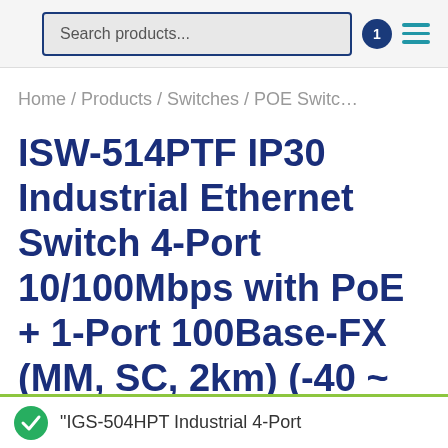Search products...
Home / Products / Switches / POE Switc…
ISW-514PTF IP30 Industrial Ethernet Switch 4-Port 10/100Mbps with PoE + 1-Port 100Base-FX (MM, SC, 2km) (-40 ~ 75C)
“IGS-504HPT Industrial 4-Port